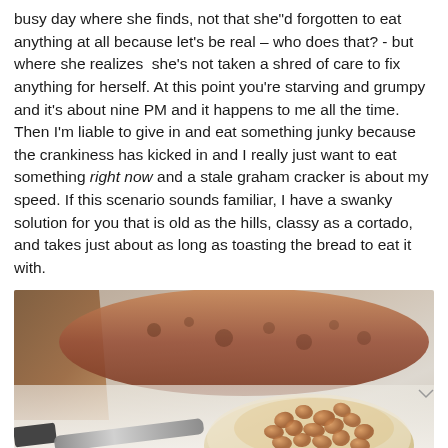busy day where she finds, not that she"d forgotten to eat anything at all because let's be real – who does that? - but where she realizes  she's not taken a shred of care to fix anything for herself. At this point you're starving and grumpy and it's about nine PM and it happens to me all the time. Then I'm liable to give in and eat something junky because the crankiness has kicked in and I really just want to eat something right now and a stale graham cracker is about my speed. If this scenario sounds familiar, I have a swanky solution for you that is old as the hills, classy as a cortado, and takes just about as long as toasting the bread to eat it with.
[Figure (photo): A photo of a piece of brie cheese topped with roasted nuts (hazelnuts/cashews) on white paper, with a knife on the left side and a rustic loaf of bread visible in the background upper portion.]